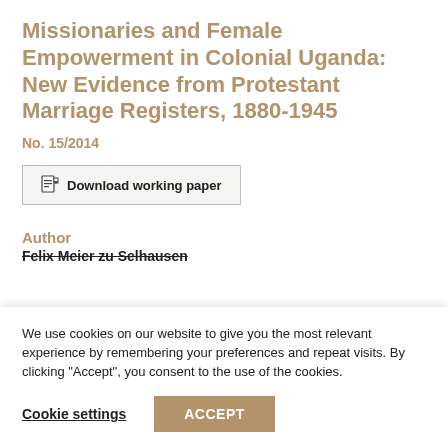Missionaries and Female Empowerment in Colonial Uganda: New Evidence from Protestant Marriage Registers, 1880-1945
No. 15/2014
[Figure (other): Download working paper button with document icon]
Author
Felix Meier zu Selhausen
We use cookies on our website to give you the most relevant experience by remembering your preferences and repeat visits. By clicking "Accept", you consent to the use of the cookies.